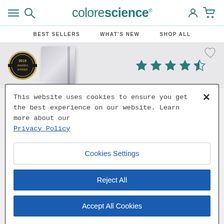[Figure (screenshot): Colorescience website header with hamburger menu, search icon, brand logo, user icon, and cart icon]
BEST SELLERS   WHAT'S NEW   SHOP ALL
[Figure (photo): Product image of a silver/white cylindrical cosmetics jar with 2019 award badge, and 4.5 star rating in teal]
This website uses cookies to ensure you get the best experience on our website. Learn more about our Privacy Policy
Cookies Settings
Reject All
Accept All Cookies